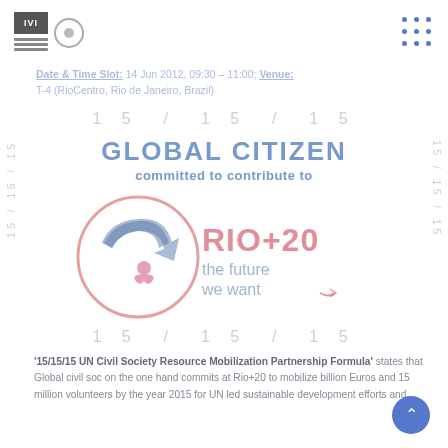IVI logo and dots grid header
Date & Time Slot: 14 Jun 2012, 09:30 – 11:00; Venue: T-4 (RioCentro, Rio de Janeiro, Brazil)
15 / 15 / 15
GLOBAL CITIZEN
committed to contribute to
[Figure (logo): RIO+20 The Future We Want logo with circular arrow emblem]
15 / 15 / 15
'15/15/15 UN Civil Society Resource Mobilization Partnership Formula' states that Global civil society on the one hand commits at Rio+20 to mobilize billion Euros and 15 million volunteers by the year 2015 for UN led sustainable development efforts and